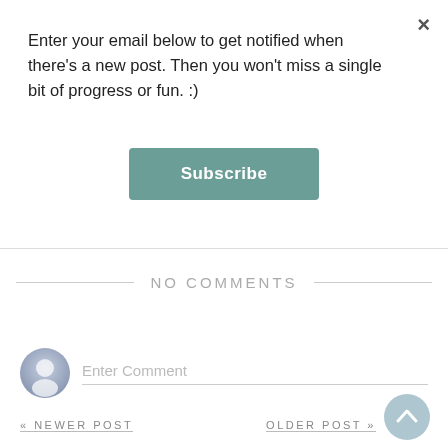Enter your email below to get notified when there's a new post. Then you won't miss a single bit of progress or fun. :)
Subscribe
NO COMMENTS
Enter Comment
« NEWER POST
OLDER POST »